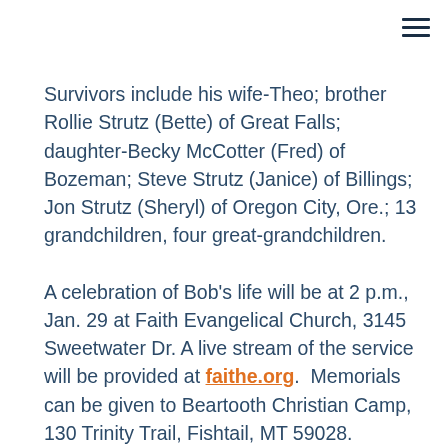Survivors include his wife-Theo; brother Rollie Strutz (Bette) of Great Falls; daughter-Becky McCotter (Fred) of Bozeman; Steve Strutz (Janice) of Billings; Jon Strutz (Sheryl) of Oregon City, Ore.; 13 grandchildren, four great-grandchildren.
A celebration of Bob's life will be at 2 p.m., Jan. 29 at Faith Evangelical Church, 3145 Sweetwater Dr. A live stream of the service will be provided at faithe.org.  Memorials can be given to Beartooth Christian Camp, 130 Trinity Trail, Fishtail, MT 59028. Condolences may be shared with the